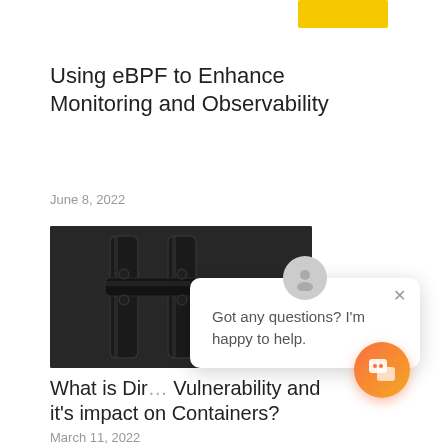Using eBPF to Enhance Monitoring and Observability
June 8, 2022
[Figure (photo): Dark metal pipes/valves on a textured dark background]
What is Dir Vulnerability and it's impact on Containers?
March 11, 2022
Got any questions? I'm happy to help.